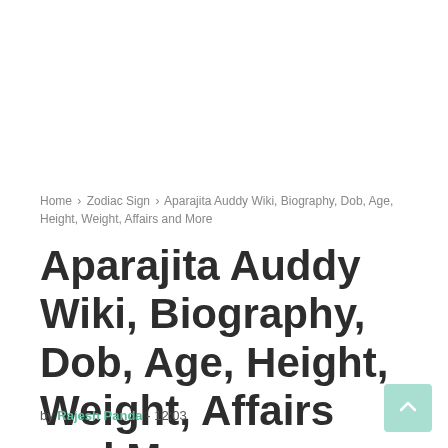Home › Zodiac Sign › Aparajita Auddy Wiki, Biography, Dob, Age, Height, Weight, Affairs and More
Aparajita Auddy Wiki, Biography, Dob, Age, Height, Weight, Affairs and More
by Rajesh Panda - 12:03